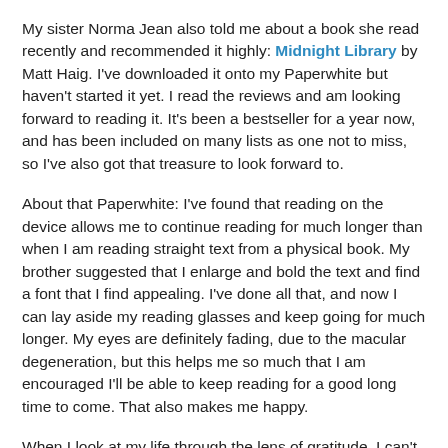My sister Norma Jean also told me about a book she read recently and recommended it highly: Midnight Library by Matt Haig. I've downloaded it onto my Paperwhite but haven't started it yet. I read the reviews and am looking forward to reading it. It's been a bestseller for a year now, and has been included on many lists as one not to miss, so I've also got that treasure to look forward to.
About that Paperwhite: I've found that reading on the device allows me to continue reading for much longer than when I am reading straight text from a physical book. My brother suggested that I enlarge and bold the text and find a font that I find appealing. I've done all that, and now I can lay aside my reading glasses and keep going for much longer. My eyes are definitely fading, due to the macular degeneration, but this helps me so much that I am encouraged I'll be able to keep reading for a good long time to come. That also makes me happy.
When I look at my life through the lens of gratitude, I can't imagine why I would not be able to find joy everywhere I look. I have so many reasons to celebrate each day as it